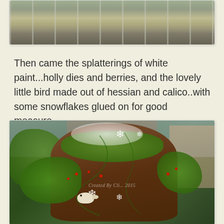[Figure (photo): Partial photo of birch trees or outdoor scene, cropped at top, showing lower portion with gray-brown tones]
Then came the splatterings of white paint...holly dies and berries, and the lovely little bird made out of hessian and calico..with some snowflakes glued on for good measure...
[Figure (photo): Photo of a decorated log or wooden arch piece with green holly leaves, red berries, white snowflake decorations, a small bird made of hessian and calico, against a background with tree trunk and foliage. Watermark reads 'Created By Cli... 2015']